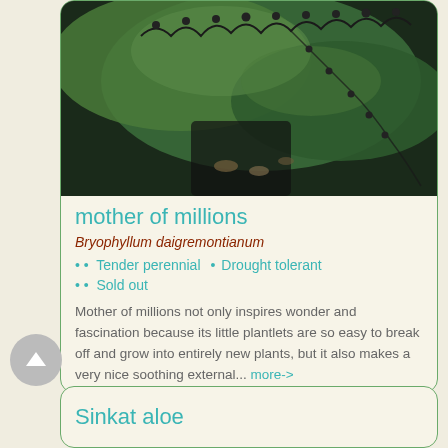[Figure (photo): Close-up photo of a mother of millions plant (Bryophyllum daigremontianum) showing green succulent leaves with small plantlets along the leaf margins, against a dark background.]
mother of millions
Bryophyllum daigremontianum
Tender perennial  •  Drought tolerant
Sold out
Mother of millions not only inspires wonder and fascination because its little plantlets are so easy to break off and grow into entirely new plants, but it also makes a very nice soothing external... more->
Sinkat aloe